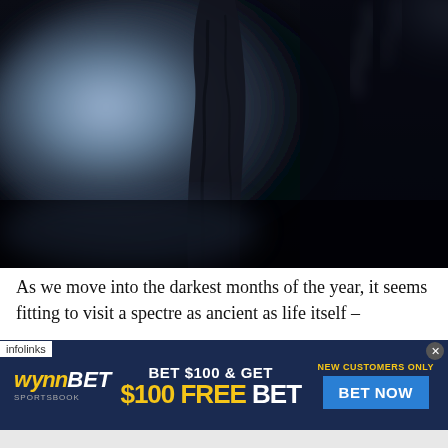[Figure (photo): Dark atmospheric photo of a shadowy figure or ancient tree surrounded by misty blue-white fog/smoke against a very dark background, evoking a supernatural or ghostly mood.]
As we move into the darkest months of the year, it seems fitting to visit a spectre as ancient as life itself –
[Figure (other): WynnBET Sportsbook advertisement banner: 'BET $100 & GET $100 FREE BET' with 'NEW CUSTOMERS ONLY' label and 'BET NOW' call-to-action button on dark navy background. Infolinks badge in top-left corner. Close button (x) in top-right corner.]